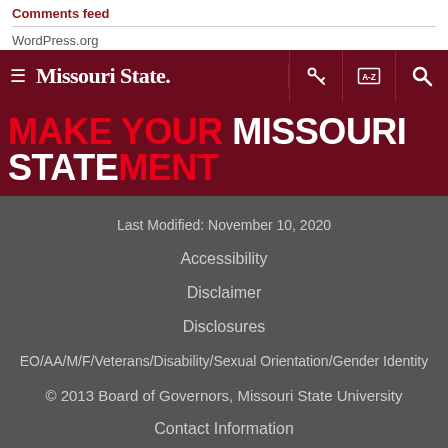Comments feed
WordPress.org
[Figure (screenshot): Missouri State University navigation bar with hamburger menu, logo, key icon, A-Z index icon, and search icon on dark red background]
[Figure (screenshot): Banner with text MAKE YOUR MISSOURI STATEMENT in red and white on dark red background]
Last Modified: November 10, 2020
Accessibility
Disclaimer
Disclosures
EO/AA/M/F/Veterans/Disability/Sexual Orientation/Gender Identity
© 2013 Board of Governors, Missouri State University
Contact Information